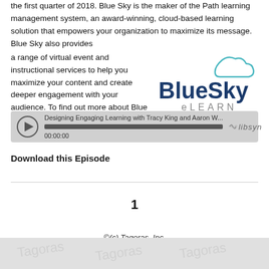the first quarter of 2018. Blue Sky is the maker of the Path learning management system, an award-winning, cloud-based learning solution that empowers your organization to maximize its message. Blue Sky also provides a range of virtual event and instructional services to help you maximize your content and create deeper engagement with your audience. To find out more about Blue Sky eLearn and everything it offers, visit http://www.blueskyelearn.com.
[Figure (logo): Blue Sky eLEARN logo with cloud icon and dark blue bold text]
[Figure (screenshot): Audio player widget showing 'Designing Engaging Learning with Tracy King and Aaron W...' with play button, progress bar at 00:00:00, and libsyn branding]
Download this Episode
1
©(c) Tagoras, Inc.